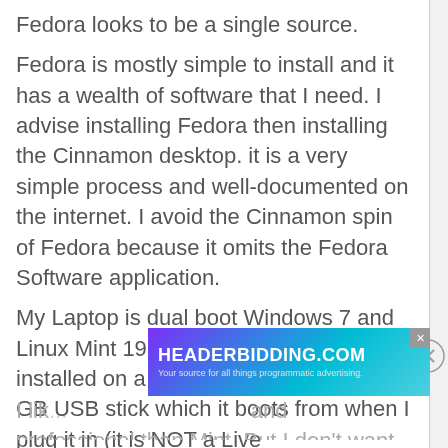Fedora looks to be a single source.
Fedora is mostly simple to install and it has a wealth of software that I need. I advise installing Fedora then installing the Cinnamon desktop. it is a very simple process and well-documented on the internet. I avoid the Cinnamon spin of Fedora because it omits the Fedora Software application.
My Laptop is dual boot Windows 7 and Linux Mint 19. Then I have Fedora installed on a fast and small Sandisk 64 GB USB stick which it boots from when I plug it in (it is NOT a Live ver...
I lik... and professional than Mint. But I don't want to...
[Figure (other): Advertisement banner for HEADERBIDDING.COM with tagline 'Your source for all things programmatic advertising.' on a teal/purple gradient background with an X close button.]